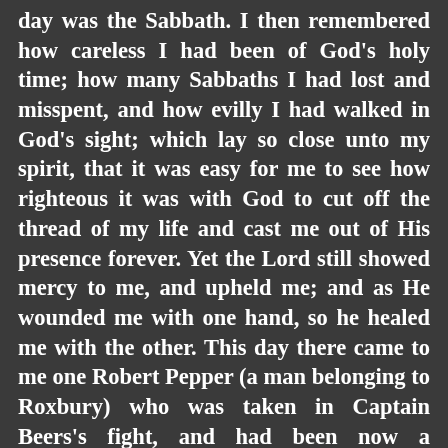day was the Sabbath. I then remembered how careless I had been of God's holy time; how many Sabbaths I had lost and misspent, and how evilly I had walked in God's sight; which lay so close unto my spirit, that it was easy for me to see how righteous it was with God to cut off the thread of my life and cast me out of His presence forever. Yet the Lord still showed mercy to me, and upheld me; and as He wounded me with one hand, so he healed me with the other. This day there came to me one Robert Pepper (a man belonging to Roxbury) who was taken in Captain Beers's fight, and had been now a considerable time with the Indians; and up with them almost as far as Albany, to see King Philip, as he told me, and